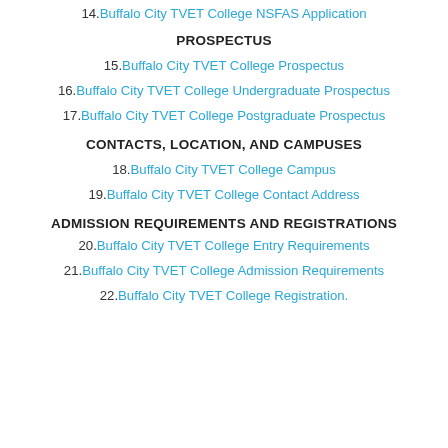14. Buffalo City TVET College NSFAS Application
PROSPECTUS
15. Buffalo City TVET College Prospectus
16. Buffalo City TVET College Undergraduate Prospectus
17. Buffalo City TVET College Postgraduate Prospectus
CONTACTS, LOCATION, AND CAMPUSES
18. Buffalo City TVET College Campus
19. Buffalo City TVET College Contact Address
ADMISSION REQUIREMENTS AND REGISTRATIONS
20. Buffalo City TVET College Entry Requirements
21. Buffalo City TVET College Admission Requirements
22. Buffalo City TVET College Registration.